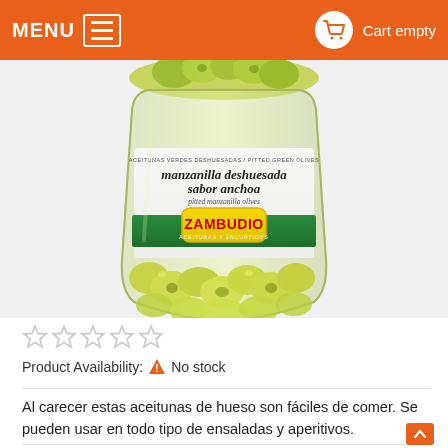MENU   Cart empty
[Figure (photo): Jar of Zambudio manzanilla deshuesada sabor anchoa (pitted manzanilla olives anchovy flavor) - green olives in a glass jar with white and green label]
Product Availability: ⚠ No stock
Al carecer estas aceitunas de hueso son fáciles de comer. Se pueden usar en todo tipo de ensaladas y aperitivos.